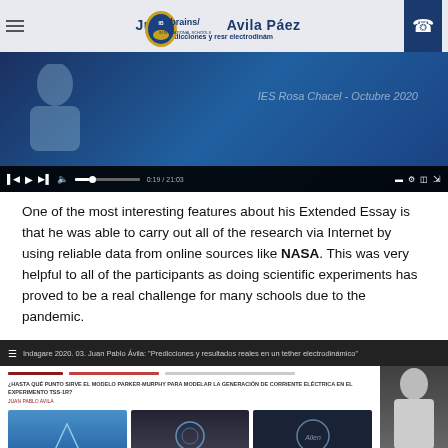Juan Pablo Avila Páez — Predicciones y resultados reales en un tether electrodinámico
[Figure (screenshot): Embedded YouTube video player showing a presentation titled IES Rosa Chacel - Octubre 2020, with playback controls showing 0:19 / 21:03]
One of the most interesting features about his Extended Essay is that he was able to carry out all of the research via Internet by using reliable data from online sources like NASA. This was very helpful to all of the participants as doing scientific experiments has proved to be a real challenge for many schools due to the pandemic.
[Figure (screenshot): Embedded YouTube video: Indagare 2020. 03. Juan Pablo Ávila: 'Predicciones y resultados reales en un tether electrodinámico'. Shows a presentation slide with text '¿HASTA QUÉ PUNTO SIRVE EL MODELO PARKER-MURPHY PARA MODELAR LA GENERACIÓN DE CORRIENTE ELÉCTRICA EN EL EXPERIMENTO TSS-1R?' by JUAN PABLO AVILA, with three images below, and a person visible on the right side.]